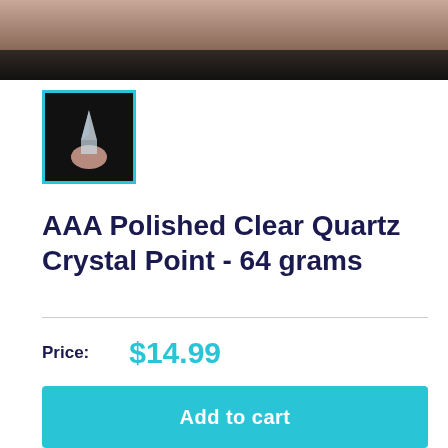[Figure (photo): Top portion of product photo showing a hand holding a clear quartz crystal point against a dark background]
[Figure (photo): Thumbnail image of a hand holding a clear quartz crystal point, selected with cyan border]
AAA Polished Clear Quartz Crystal Point - 64 grams
Price: $14.99
Quantity: 1
Add to cart